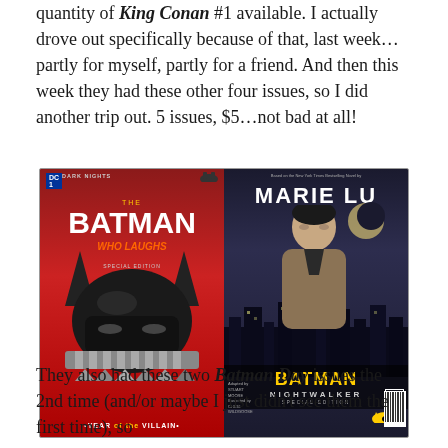quantity of King Conan #1 available. I actually drove out specifically because of that, last week…partly for myself, partly for a friend. And then this week they had these other four issues, so I did another trip out. 5 issues, $5…not bad at all!
[Figure (photo): Two comic book / graphic novel covers side by side on a tan surface. Left: Batman Who Laughs Special Edition (DC Dark Nights), red cover with Batman helmet silhouette, 'Year of the Villain' at bottom. Right: Batman Nightwalker Special Edition by Marie Lu, dark cover with a young man in front of cityscape and moon.]
They also had these two Batman Day issues the 2nd time (and/or maybe I just didn't see them the first time), so